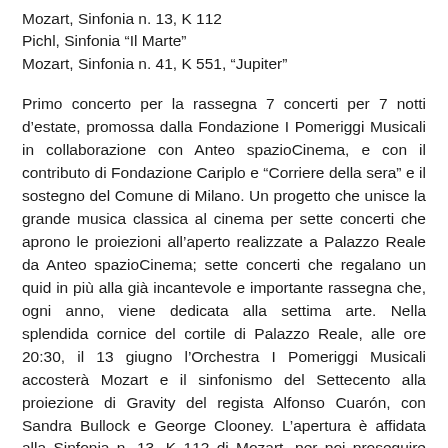Mozart, Sinfonia n. 13, K 112
Pichl, Sinfonia “Il Marte”
Mozart, Sinfonia n. 41, K 551, “Jupiter”
Primo concerto per la rassegna 7 concerti per 7 notti d’estate, promossa dalla Fondazione I Pomeriggi Musicali in collaborazione con Anteo spazioCinema, e con il contributo di Fondazione Cariplo e “Corriere della sera” e il sostegno del Comune di Milano. Un progetto che unisce la grande musica classica al cinema per sette concerti che aprono le proiezioni all’aperto realizzate a Palazzo Reale da Anteo spazioCinema; sette concerti che regalano un quid in più alla già incantevole e importante rassegna che, ogni anno, viene dedicata alla settima arte. Nella splendida cornice del cortile di Palazzo Reale, alle ore 20:30, il 13 giugno l’Orchestra I Pomeriggi Musicali accosterà Mozart e il sinfonismo del Settecento alla proiezione di Gravity del regista Alfonso Cuarón, con Sandra Bullock e George Clooney. L’apertura è affidata alla Sinfonia n. 13, K 112 di Mozart, per poi proseguire con la Sinfonia “Il Marte”, un lavoro del settecentesco compositore e violinista ceco Václav Pichl, poco conosciuto ma apprezzato, che fu direttore d’orchestra